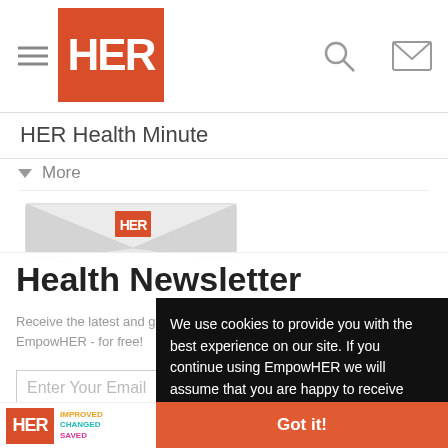HER (logo) navigation bar with hamburger menu, search icon, and mail icon
HER Health Minute
More
[Figure (illustration): Envelope graphic with HER logo on front]
Health Newsletter
Receive the latest and greatest in women's health and wellness from EmpowHER - for free!
Enter Your Email
Sign Up
We use cookies to provide you with the best experience on our site. If you continue using EmpowHER we will assume that you are happy to receive cookies. Learn more
Got it!
HER IMPROVED CHANGED SAVED